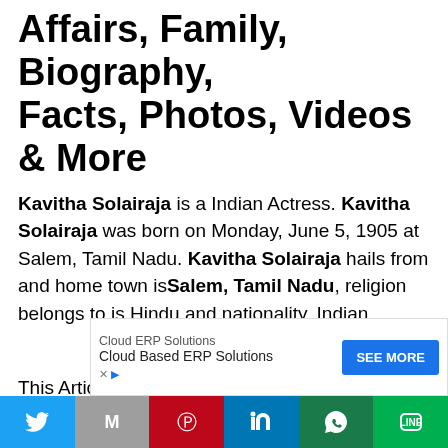Affairs, Family, Biography, Facts, Photos, Videos & More
Kavitha Solairaja is a Indian Actress. Kavitha Solairaja was born on Monday, June 5, 1905 at Salem, Tamil Nadu. Kavitha Solairaja hails from and home town is Salem, Tamil Nadu, religion belongs to is Hindu and nationality, Indian.
Wiki / Biography
This Article covers detailed story about Actress